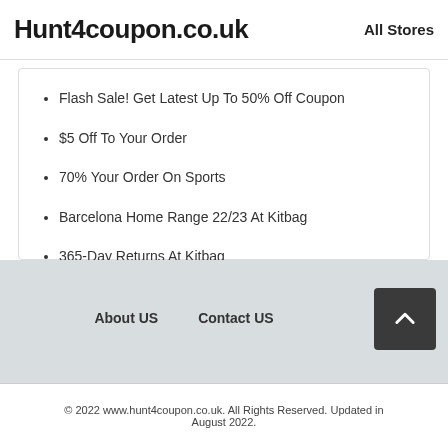Hunt4coupon.co.uk    All Stores
Flash Sale! Get Latest Up To 50% Off Coupon
$5 Off To Your Order
70% Your Order On Sports
Barcelona Home Range 22/23 At Kitbag
365-Day Returns At Kitbag
About US    Contact US
© 2022 www.hunt4coupon.co.uk. All Rights Reserved. Updated in August 2022.